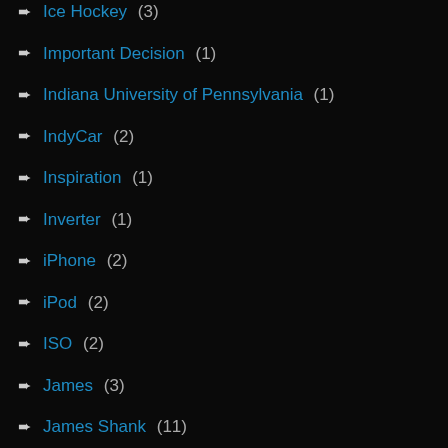Ice Hockey (3)
Important Decision (1)
Indiana University of Pennsylvania (1)
IndyCar (2)
Inspiration (1)
Inverter (1)
iPhone (2)
iPod (2)
ISO (2)
James (3)
James Shank (11)
Jason Farmer (1)
Joe Miegoc (1)